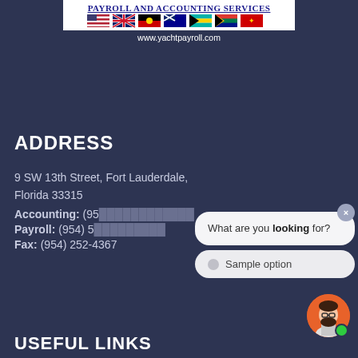[Figure (logo): Payroll and Accounting Services logo with flag strip and website URL www.yachtpayroll.com]
ADDRESS
9 SW 13th Street, Fort Lauderdale, Florida 33315
Accounting: (95...
Payroll: (954) 5...
Fax: (954) 252-4367
[Figure (screenshot): Chat widget overlay with close button, bubble asking 'What are you looking for?' and 'Sample option' button, plus avatar with online indicator]
USEFUL LINKS